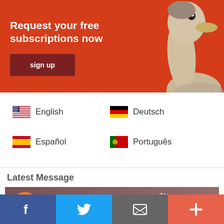[Figure (infographic): Red banner with ostrich photo on right side. Text: 'Request your free subscriptions now' and a dark red 'sign up' button.]
English
Deutsch
Español
Português
Latest Message
[Figure (screenshot): SoundCloud embedded player showing 'KEEP the FAITH' track titled 'No Buy No Sell, the Collapse...' with play button, download and share icons.]
[Figure (infographic): Bottom social bar with Facebook, Twitter, email, and plus icons.]